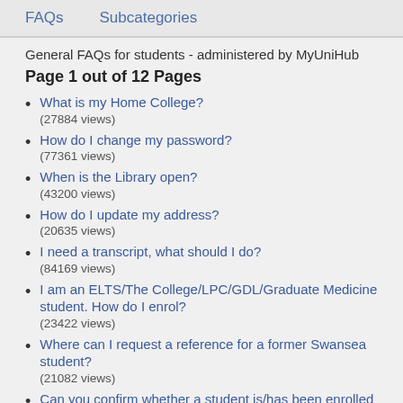FAQs   Subcategories
General FAQs for students - administered by MyUniHub
Page 1 out of 12 Pages
What is my Home College?
(27884 views)
How do I change my password?
(77361 views)
When is the Library open?
(43200 views)
How do I update my address?
(20635 views)
I need a transcript, what should I do?
(84169 views)
I am an ELTS/The College/LPC/GDL/Graduate Medicine student. How do I enrol?
(23422 views)
Where can I request a reference for a former Swansea student?
(21082 views)
Can you confirm whether a student is/has been enrolled at the University?
(20736 views)